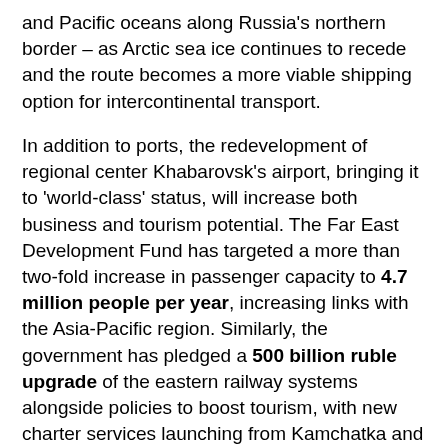and Pacific oceans along Russia's northern border – as Arctic sea ice continues to recede and the route becomes a more viable shipping option for intercontinental transport.
In addition to ports, the redevelopment of regional center Khabarovsk's airport, bringing it to 'world-class' status, will increase both business and tourism potential. The Far East Development Fund has targeted a more than two-fold increase in passenger capacity to 4.7 million people per year, increasing links with the Asia-Pacific region. Similarly, the government has pledged a 500 billion ruble upgrade of the eastern railway systems alongside policies to boost tourism, with new charter services launching from Kamchatka and the allocation of 32 billion rubles from federal and regional sources to develop Sakhalin and the outlying Kuril Islands. These are unique and ecologically important heritage sites, which are highly marketable to both Russian and foreign visitors. Russia's largest casino also opened in October this year in the newly designated Primorsky Gambling Zone. Investment